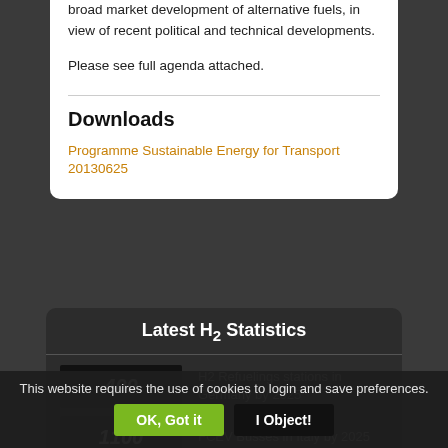broad market development of alternative fuels, in view of recent political and technical developments.
Please see full agenda attached.
Downloads
Programme Sustainable Energy for Transport 20130625
Latest H2 Statistics
400 — H2 Refuelings stations in Germany by 2025
1100 — FCEV Busses in Italy by 2025
This website requires the use of cookies to login and save preferences.